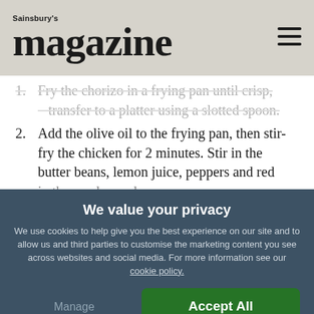Sainsbury's magazine
1. Fry the chorizo in a frying pan until crisp, transfer to a platter using a slotted spoon.
2. Add the olive oil to the frying pan, then stir-fry the chicken for 2 minutes. Stir in the butter beans, lemon juice, peppers and red onion. Cook together, stirring, for 3-4 minutes.
3. Transfer to the platter with the chorizo and stir in the...
We value your privacy
We use cookies to help give you the best experience on our site and to allow us and third parties to customise the marketing content you see across websites and social media. For more information see our cookie policy.
Manage Preferences
Accept All Cookies